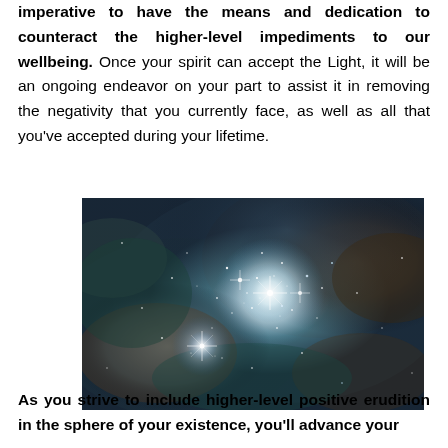imperative to have the means and dedication to counteract the higher-level impediments to our wellbeing. Once your spirit can accept the Light, it will be an ongoing endeavor on your part to assist it in removing the negativity that you currently face, as well as all that you've accepted during your lifetime.
[Figure (photo): Hubble Space Telescope image of a dense star cluster nebula with bright stars and colorful gas clouds in deep space, showing teal, brown, and dark blue nebula with brilliant white star clusters at the center.]
As you strive to include higher-level positive erudition in the sphere of your existence, you'll advance your